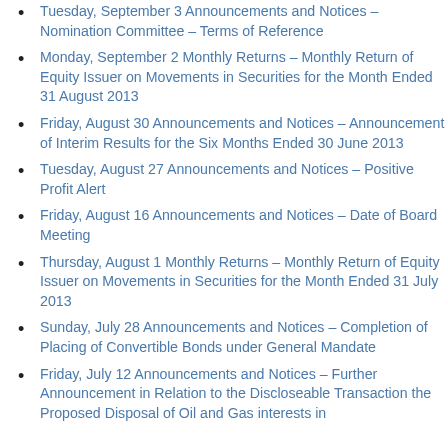Tuesday, September 3 Announcements and Notices – Nomination Committee – Terms of Reference
Monday, September 2 Monthly Returns – Monthly Return of Equity Issuer on Movements in Securities for the Month Ended 31 August 2013
Friday, August 30 Announcements and Notices – Announcement of Interim Results for the Six Months Ended 30 June 2013
Tuesday, August 27 Announcements and Notices – Positive Profit Alert
Friday, August 16 Announcements and Notices – Date of Board Meeting
Thursday, August 1 Monthly Returns – Monthly Return of Equity Issuer on Movements in Securities for the Month Ended 31 July 2013
Sunday, July 28 Announcements and Notices – Completion of Placing of Convertible Bonds under General Mandate
Friday, July 12 Announcements and Notices – Further Announcement in Relation to the Discloseable Transaction the Proposed Disposal of Oil and Gas interests in